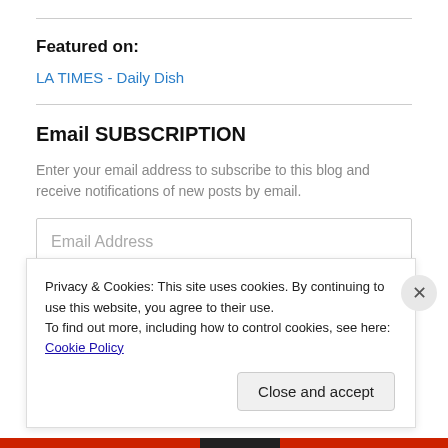Featured on:
LA TIMES - Daily Dish
Email SUBSCRIPTION
Enter your email address to subscribe to this blog and receive notifications of new posts by email.
Email Address
Privacy & Cookies: This site uses cookies. By continuing to use this website, you agree to their use.
To find out more, including how to control cookies, see here: Cookie Policy
Close and accept